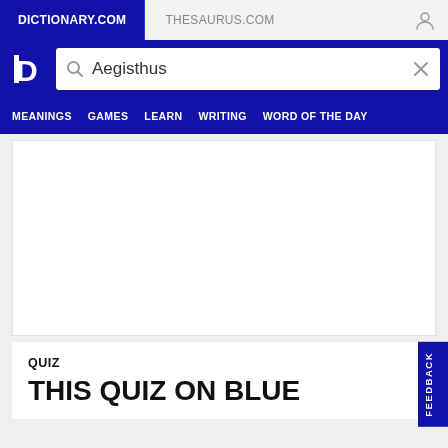DICTIONARY.COM | THESAURUS.COM
[Figure (screenshot): Dictionary.com logo — white letter D on dark blue background]
Aegisthus
MEANINGS  GAMES  LEARN  WRITING  WORD OF THE DAY
[Figure (other): Advertisement placeholder area (white rectangle)]
QUIZ
THIS QUIZ ON BLUE
FEEDBACK